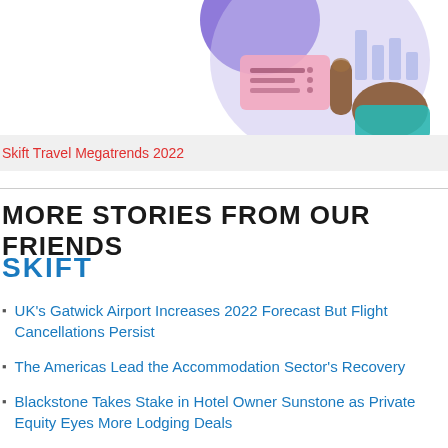[Figure (illustration): Partial illustration of a hand pointing at a digital interface/screen with purple and pink card elements, cropped at top of page]
Skift Travel Megatrends 2022
MORE STORIES FROM OUR FRIENDS
SKIFT
UK's Gatwick Airport Increases 2022 Forecast But Flight Cancellations Persist
The Americas Lead the Accommodation Sector's Recovery
Blackstone Takes Stake in Hotel Owner Sunstone as Private Equity Eyes More Lodging Deals